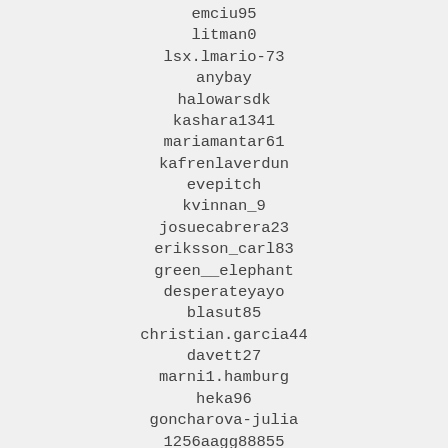emciu95
litman0
lsx.lmario-73
anybay
halowarsdk
kashara1341
mariamantar61
kafrenlaverdun
evepitch
kvinnan_9
josuecabrera23
eriksson_carl83
green__elephant
desperateyayo
blasut85
christian.garcia44
davett27
marni1.hamburg
heka96
goncharova-julia
1256aagg88855
havanurtemir
arenon28
babybabycola